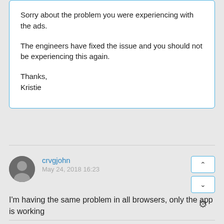Sorry about the problem you were experiencing with the ads.

The engineers have fixed the issue and you should not be experiencing this again.

Thanks,
Kristie
crvgjohn
May 24, 2018 16:23
I'm having the same problem in all browsers, only the app is working